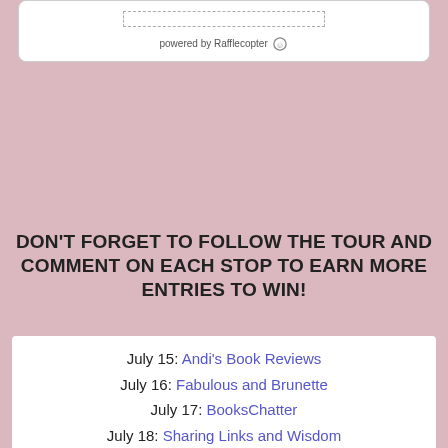[Figure (other): Rafflecopter widget box with dotted inner rectangle and 'powered by Rafflecopter' text]
DON'T FORGET TO FOLLOW THE TOUR AND COMMENT ON EACH STOP TO EARN MORE ENTRIES TO WIN!
July 15: Andi's Book Reviews
July 16: Fabulous and Brunette
July 17: BooksChatter
July 18: Sharing Links and Wisdom